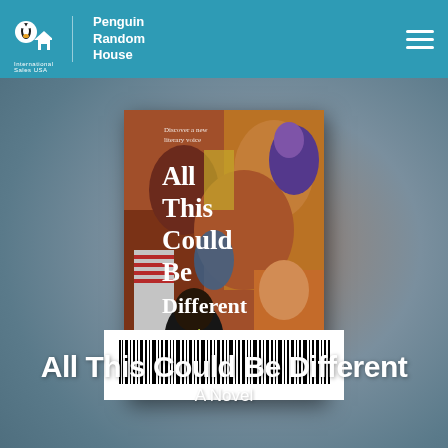Penguin Random House International Sales USA
[Figure (photo): Book cover of 'All This Could Be Different: A Novel' by Sarah Thankam Mathews, showing a colorful painting of a crowd of diverse people in a social scene]
[Figure (other): ISBN barcode]
All This Could Be Different
A Novel